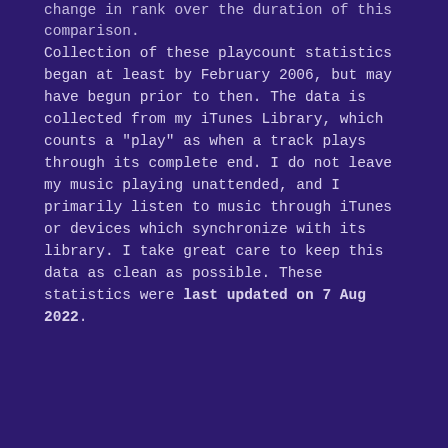change in rank over the duration of this comparison.
Collection of these playcount statistics began at least by February 2006, but may have begun prior to then. The data is collected from my iTunes Library, which counts a "play" as when a track plays through its complete end. I do not leave my music playing unattended, and I primarily listen to music through iTunes or devices which synchronize with its library. I take great care to keep this data as clean as possible. These statistics were last updated on 7 Aug 2022.